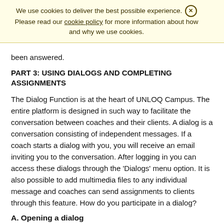We use cookies to deliver the best possible experience. Please read our cookie policy for more information about how and why we use cookies.
been answered.
PART 3: USING DIALOGS AND COMPLETING ASSIGNMENTS
The Dialog Function is at the heart of UNLOQ Campus. The entire platform is designed in such way to facilitate the conversation between coaches and their clients. A dialog is a conversation consisting of independent messages. If a coach starts a dialog with you, you will receive an email inviting you to the conversation. After logging in you can access these dialogs through the 'Dialogs' menu option. It is also possible to add multimedia files to any individual message and coaches can send assignments to clients through this feature. How do you participate in a dialog?
A. Opening a dialog
If your Coach started a dialog with you, you can follow the steps below to open the dialog.